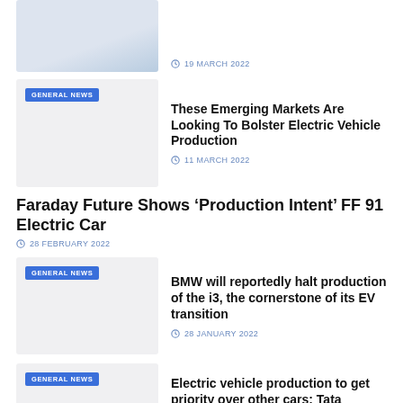[Figure (photo): Partial top image, cropped at top of page, light blue and white tones showing a vehicle/EV charging scene]
19 MARCH 2022
[Figure (photo): Thumbnail image placeholder with GENERAL NEWS badge, light grey background]
These Emerging Markets Are Looking To Bolster Electric Vehicle Production
11 MARCH 2022
Faraday Future Shows ‘Production Intent’ FF 91 Electric Car
28 FEBRUARY 2022
[Figure (photo): Thumbnail image placeholder with GENERAL NEWS badge, light grey background]
BMW will reportedly halt production of the i3, the cornerstone of its EV transition
28 JANUARY 2022
[Figure (photo): Thumbnail image placeholder with GENERAL NEWS badge, light grey background]
Electric vehicle production to get priority over other cars: Tata